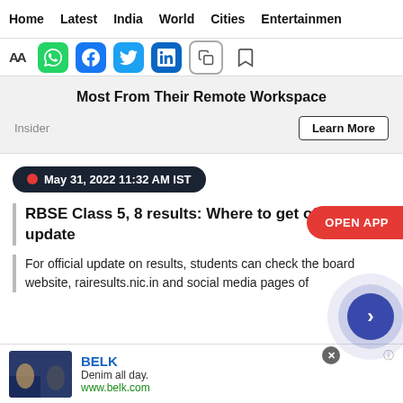Home  Latest  India  World  Cities  Entertainment
[Figure (screenshot): Social sharing toolbar with font resize (AA), WhatsApp, Facebook, Twitter, LinkedIn, copy, and bookmark icons]
Most From Their Remote Workspace
Insider   Learn More
May 31, 2022 11:32 AM IST
RBSE Class 5, 8 results: Where to get official update
For official update on results, students can check the board website, rairesults.nic.in and social media pages of
[Figure (screenshot): BELK advertisement banner: image of women in denim, BELK brand name in blue, tagline Denim all day., URL www.belk.com, close button, info icon, and navigation FAB button]